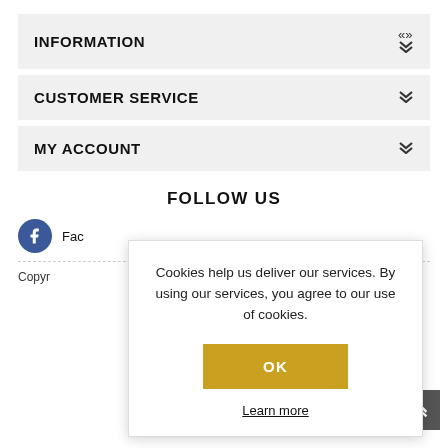INFORMATION
CUSTOMER SERVICE
MY ACCOUNT
FOLLOW US
Fac[ebook]
Copyr[ight]
Cookies help us deliver our services. By using our services, you agree to our use of cookies.
OK
Learn more